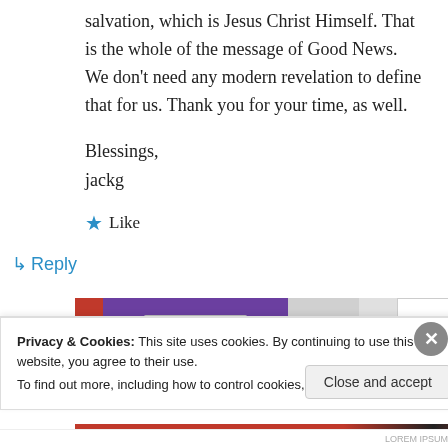salvation, which is Jesus Christ Himself. That is the whole of the message of Good News. We don't need any modern revelation to define that for us. Thank you for your time, as well.
Blessings,
jackg
★ Like
↳ Reply
[Figure (screenshot): Partial screenshot of a WordPress widget bar showing a red block, purple block with 'Start a new store' button, gray lines, gray box, and Aa font selector]
Privacy & Cookies: This site uses cookies. By continuing to use this website, you agree to their use.
To find out more, including how to control cookies, see here: Cookie Policy
Close and accept